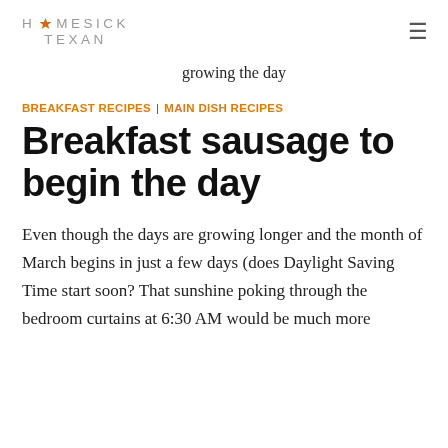HOMESICK TEXAN
[partial link] growing longer the day
BREAKFAST RECIPES | MAIN DISH RECIPES
Breakfast sausage to begin the day
Even though the days are growing longer and the month of March begins in just a few days (does Daylight Saving Time start soon? That sunshine poking through the bedroom curtains at 6:30 AM would be much more welcome at the tail end of the day rather than